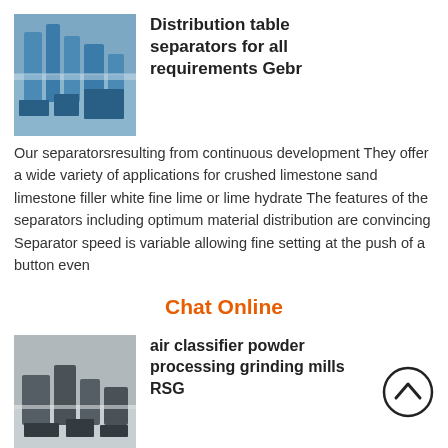[Figure (photo): Industrial distribution table separator equipment, aerial/ground view of machinery with blue silos and pipes]
Distribution table separators for all requirements Gebr
Our separatorsresulting from continuous development They offer a wide variety of applications for crushed limestone sand limestone filler white fine lime or lime hydrate The features of the separators including optimum material distribution are convincing Separator speed is variable allowing fine setting at the push of a button even
Chat Online
[Figure (photo): Air classifier powder processing grinding mill equipment, outdoor industrial facility]
air classifier powder processing grinding mills RSG
Fine grinding mills Established in 1991 RSG Inc located in central Alabama USA specializes in the manufacture of fine grinding mills air classifiers high efficiency